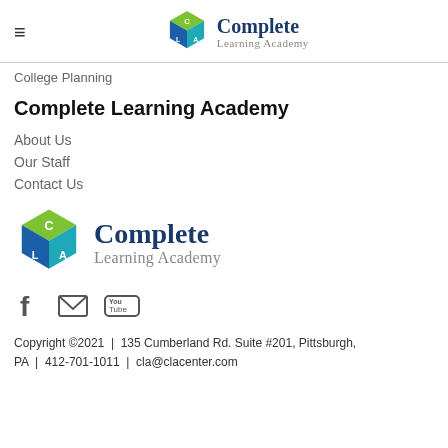Complete Learning Academy
College Planning
Complete Learning Academy
About Us
Our Staff
Contact Us
[Figure (logo): Complete Learning Academy cube logo with text]
[Figure (logo): Social media icons: Facebook, Email, YouTube]
Copyright ©2021  |  135 Cumberland Rd. Suite #201, Pittsburgh, PA  |  412-701-1011  |  cla@clacenter.com